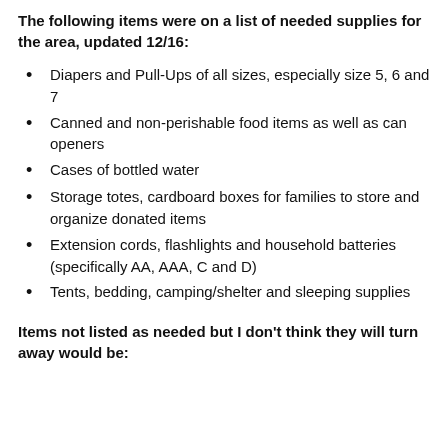The following items were on a list of needed supplies for the area, updated 12/16:
Diapers and Pull-Ups of all sizes, especially size 5, 6 and 7
Canned and non-perishable food items as well as can openers
Cases of bottled water
Storage totes, cardboard boxes for families to store and organize donated items
Extension cords, flashlights and household batteries (specifically AA, AAA, C and D)
Tents, bedding, camping/shelter and sleeping supplies
Items not listed as needed but I don't think they will turn away would be: